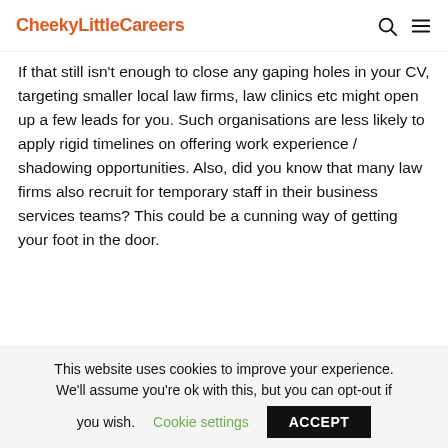CheekyLittleCareers
If that still isn't enough to close any gaping holes in your CV, targeting smaller local law firms, law clinics etc might open up a few leads for you. Such organisations are less likely to apply rigid timelines on offering work experience / shadowing opportunities. Also, did you know that many law firms also recruit for temporary staff in their business services teams? This could be a cunning way of getting your foot in the door.
Hobbies & Interests
This website uses cookies to improve your experience. We'll assume you're ok with this, but you can opt-out if you wish.